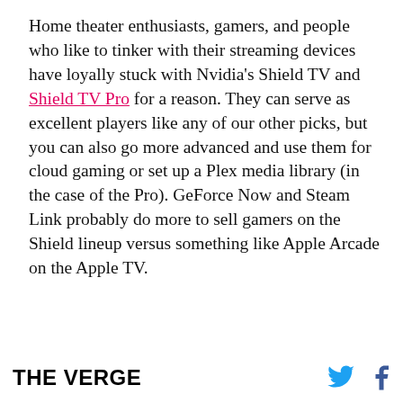Home theater enthusiasts, gamers, and people who like to tinker with their streaming devices have loyally stuck with Nvidia's Shield TV and Shield TV Pro for a reason. They can serve as excellent players like any of our other picks, but you can also go more advanced and use them for cloud gaming or set up a Plex media library (in the case of the Pro). GeForce Now and Steam Link probably do more to sell gamers on the Shield lineup versus something like Apple Arcade on the Apple TV.
[Figure (photo): Partial image of a crowd, visible at the bottom of the article content area, cropped.]
THE VERGE